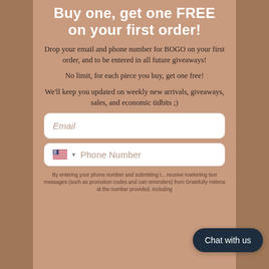Buy one, get one FREE on your first order!
Drop your email and phone number for BOGO on your first order, and to be entered in all future giveaways!
No limit, for each piece you buy, get one free!
We'll keep you updated on weekly new arrivals, giveaways, sales, and economic tidbits ;)
Email (input field)
Phone Number (input field with US flag)
By entering your phone number and submitting the form, you consent to receive marketing text messages (such as promotion codes and cart reminders) from Gratefully Helena at the number provided, including
Chat with us